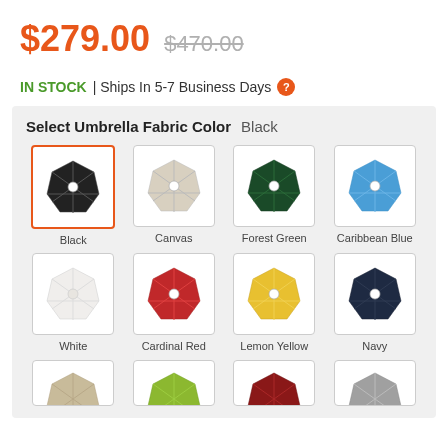$279.00  $470.00
IN STOCK | Ships In 5-7 Business Days
Select Umbrella Fabric Color  Black
[Figure (illustration): Color swatches grid for umbrella fabric: Black (selected), Canvas, Forest Green, Caribbean Blue, White, Cardinal Red, Lemon Yellow, Navy, and partial row at bottom]
Black Canvas Forest Green Caribbean Blue White Cardinal Red Lemon Yellow Navy